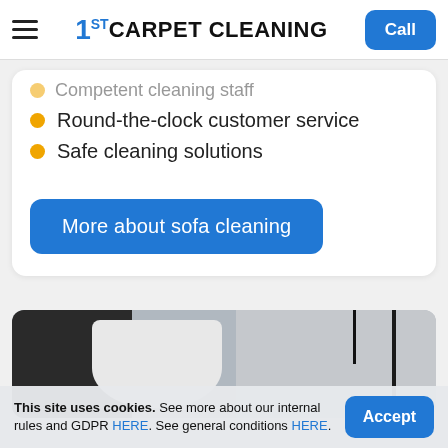1ST CARPET CLEANING — Call
Competent cleaning staff (partially visible)
Round-the-clock customer service
Safe cleaning solutions
More about sofa cleaning
[Figure (photo): Close-up photo of a white sofa arm/cushion with dark furniture elements and grey background, related to sofa cleaning service]
This site uses cookies. See more about our internal rules and GDPR HERE. See general conditions HERE.